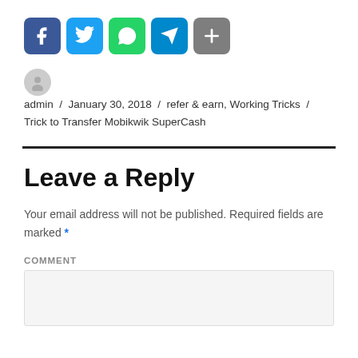[Figure (infographic): Social sharing icons: Facebook (blue), Twitter (light blue), WhatsApp (green), Telegram (blue), Share/Plus (gray)]
admin / January 30, 2018 / refer & earn, Working Tricks / Trick to Transfer Mobikwik SuperCash
Leave a Reply
Your email address will not be published. Required fields are marked *
COMMENT